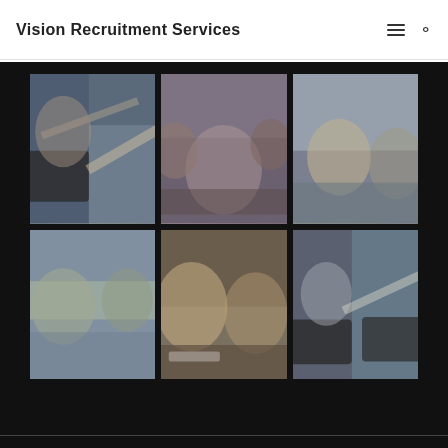Vision Recruitment Services
[Figure (photo): A 2x3 grid of six business/recruitment related photos on a dark background. Top row: (1) two people shaking hands over a table with laptops, (2) a group meeting in an office with people around a table, (3) smiling business women at a meeting table. Bottom row: (4) a group discussing documents in a bright office, (5) two women laughing at a table with coffee cups, (6) two people shaking hands over laptops.]